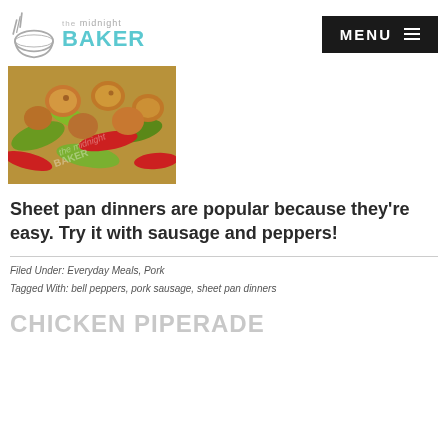the midnight BAKER | MENU
[Figure (photo): A sheet pan with cooked sausage links and colorful bell peppers (red and green) roasted together, with a watermark reading 'the midnight BAKER']
Sheet pan dinners are popular because they're easy. Try it with sausage and peppers!
Filed Under: Everyday Meals, Pork
Tagged With: bell peppers, pork sausage, sheet pan dinners
CHICKEN PIPERADE